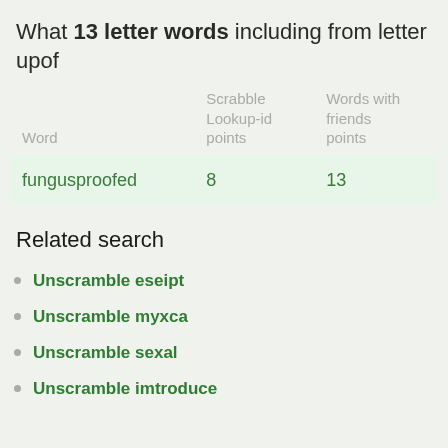What 13 letter words including from letter upof
| Word | Scrabble Lookup-id points | Words with friends points |
| --- | --- | --- |
| fungusproofed | 8 | 13 |
Related search
Unscramble eseipt
Unscramble myxca
Unscramble sexal
Unscramble imtroduce